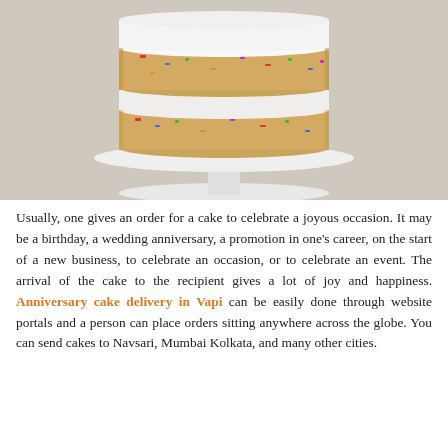[Figure (photo): A funfetti-style layered naked cake on a white cake stand, viewed from the side. The cake has colorful sprinkles visible in the golden sponge layers, with white cream filling between two layers. The background is a warm beige/tan color.]
Usually, one gives an order for a cake to celebrate a joyous occasion. It may be a birthday, a wedding anniversary, a promotion in one's career, on the start of a new business, to celebrate an occasion, or to celebrate an event. The arrival of the cake to the recipient gives a lot of joy and happiness. Anniversary cake delivery in Vapi can be easily done through website portals and a person can place orders sitting anywhere across the globe. You can send cakes to Navsari, Mumbai Kolkata, and many other cities.